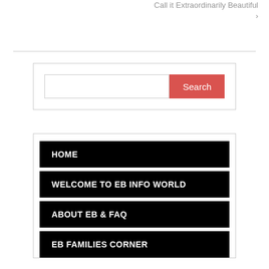Call it Extraordinarily Beautiful ›
[Figure (screenshot): Search box with text input field and red Search button]
HOME
WELCOME TO EB INFO WORLD
ABOUT EB & FAQ
EB FAMILIES CORNER